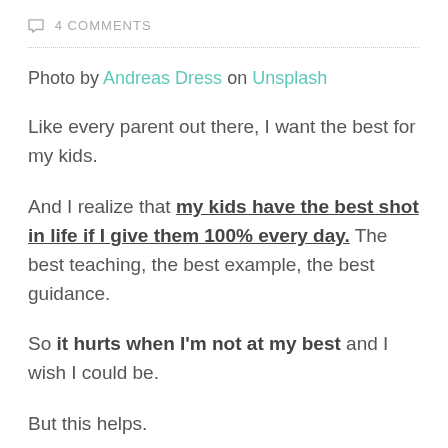4 COMMENTS
Photo by Andreas Dress on Unsplash
Like every parent out there, I want the best for my kids.
And I realize that my kids have the best shot in life if I give them 100% every day. The best teaching, the best example, the best guidance.
So it hurts when I'm not at my best and I wish I could be.
But this helps.
“No man knows how bad he is till he has tried very